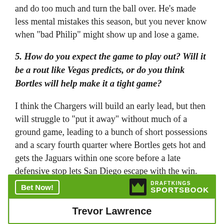and do too much and turn the ball over. He's made less mental mistakes this season, but you never know when "bad Philip" might show up and lose a game.
5. How do you expect the game to play out? Will it be a rout like Vegas predicts, or do you think Bortles will help make it a tight game?
I think the Chargers will build an early lead, but then will struggle to "put it away" without much of a ground game, leading to a bunch of short possessions and a scary fourth quarter where Bortles gets hot and gets the Jaguars within one score before a late defensive stop lets San Diego escape with the win.
[Figure (other): DraftKings Sportsbook banner with green header bar containing 'Bet Now!' button and DraftKings Sportsbook logo, and white content area showing 'Trevor Lawrence']